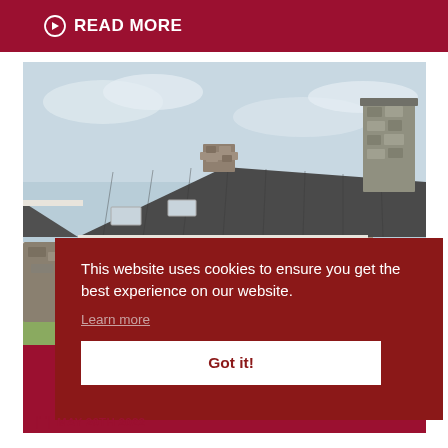READ MORE
[Figure (photo): Photograph of a traditional stone cottage with dark slate roof and two chimneys, set against a cloudy sky with green grass in the foreground]
This website uses cookies to ensure you get the best experience on our website.
Learn more
Got it!
MAY 20TH 2022